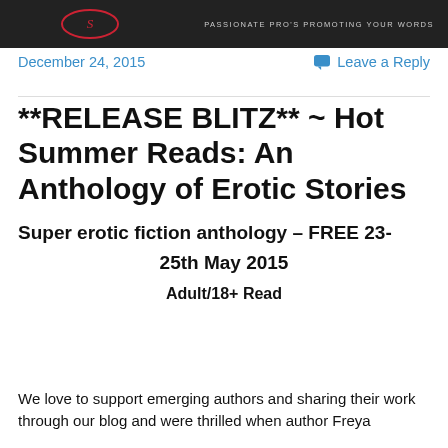[Figure (photo): Dark banner with logo and text 'PASSIONATE PRO'S PROMOTING YOUR WORDS']
December 24, 2015
Leave a Reply
**RELEASE BLITZ** ~ Hot Summer Reads: An Anthology of Erotic Stories
Super erotic fiction anthology – FREE 23-25th May 2015
Adult/18+ Read
We love to support emerging authors and sharing their work through our blog and were thrilled when author Freya